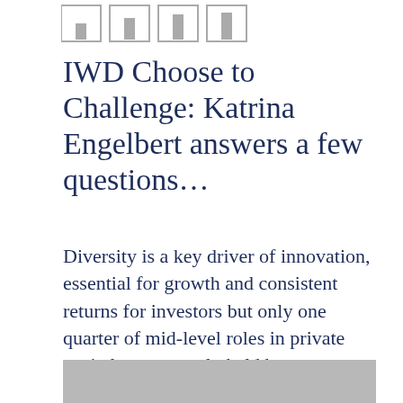[Figure (infographic): Four small icon boxes arranged in a row, each containing a small vertical bar, representing a bar chart icon set]
IWD Choose to Challenge: Katrina Engelbert answers a few questions…
Diversity is a key driver of innovation, essential for growth and consistent returns for investors but only one quarter of mid-level roles in private capital are currently held by women.
[Figure (photo): Partially visible grey photograph or image at the bottom of the page]